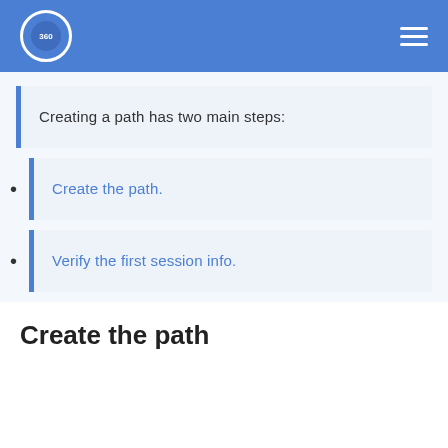360
Creating a path has two main steps:
Create the path.
Verify the first session info.
Create the path